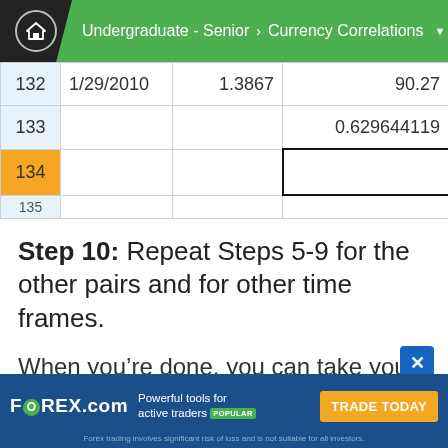Undergraduate - Senior > Currency Correlations
| 132 | 1/29/2010 | 1.3867 | 90.27 |
| 133 |  |  | 0.629644119 |
| 134 |  |  |  |
| 135 |  |  |  |
Step 10: Repeat Steps 5-9 for the other pairs and for other time frames.
When you’re done, you can take your new data and create a cool looking table just like this. Man, that’s pro-status!
FOREX.com — Powerful tools for active traders POPULAR — TRADE TODAY — Forex trading involves significant risk of loss and is not suitable for all investors.